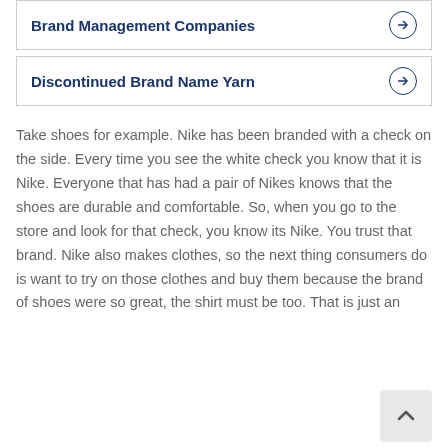Brand Management Companies
Discontinued Brand Name Yarn
Take shoes for example. Nike has been branded with a check on the side. Every time you see the white check you know that it is Nike. Everyone that has had a pair of Nikes knows that the shoes are durable and comfortable. So, when you go to the store and look for that check, you know its Nike. You trust that brand. Nike also makes clothes, so the next thing consumers do is want to try on those clothes and buy them because the brand of shoes were so great, the shirt must be too. That is just an